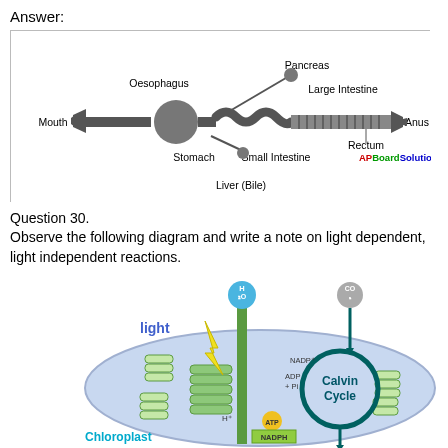Answer:
[Figure (illustration): Diagram of the human digestive system showing: Mouth, Oesophagus, Stomach, Pancreas, Liver (Bile), Small Intestine, Large Intestine, Rectum, Anus. Labeled diagram with simplified iconic shapes for each organ connected in sequence. APBoardSolutions.com watermark.]
Question 30.
Observe the following diagram and write a note on light dependent, light independent reactions.
[Figure (illustration): Diagram of a chloroplast showing light reactions and the Calvin Cycle. Labels include: light, H2O, CO2, NADP+, ADP + Pi, ATP, NADPH, Calvin Cycle, Chloroplast. Shows thylakoid membrane stacks, electron transport with yellow lightning bolt for light energy, and Calvin cycle circle on right side within the chloroplast oval (blue/purple background).]